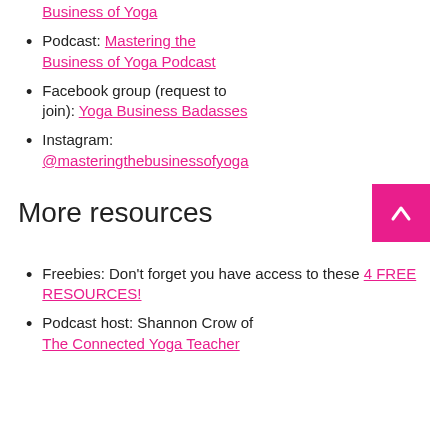Business of Yoga
Podcast: Mastering the Business of Yoga Podcast
Facebook group (request to join): Yoga Business Badasses
Instagram: @masteringthebusinessofyoga
More resources
Freebies: Don’t forget you have access to these 4 FREE RESOURCES!
Podcast host: Shannon Crow of The Connected Yoga Teacher